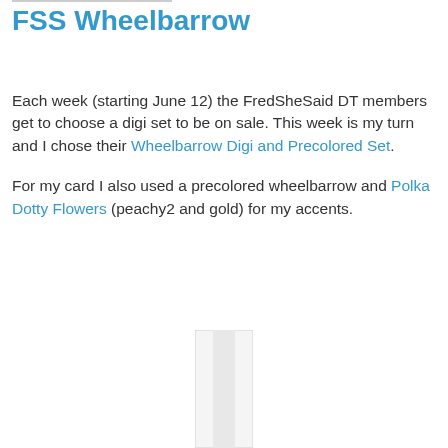FSS Wheelbarrow
Each week (starting June 12) the FredSheSaid DT members get to choose a digi set to be on sale. This week is my turn and I chose their Wheelbarrow Digi and Precolored Set.
For my card I also used a precolored wheelbarrow and Polka Dotty Flowers (peachy2 and gold) for my accents.
[Figure (other): Partial image visible at bottom of page, showing a thin vertical light-colored strip or edge of a photograph]